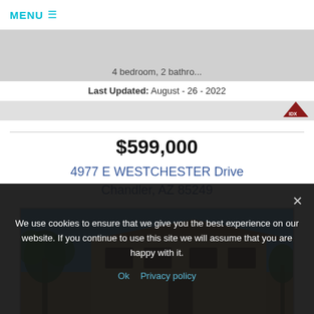MENU ≡
4 bedroom, 2 bathro...
Last Updated: August - 26 - 2022
[Figure (logo): IDX logo in dark red/maroon, small triangle with IDX text]
$599,000
4977 E WESTCHESTER Drive Chandler, AZ 85249
[Figure (photo): Exterior photo of a two-story stucco house with palm trees and blue sky]
We use cookies to ensure that we give you the best experience on our website. If you continue to use this site we will assume that you are happy with it.
Ok  Privacy policy